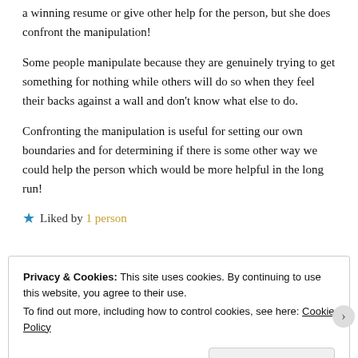a winning resume or give other help for the person, but she does confront the manipulation!
Some people manipulate because they are genuinely trying to get something for nothing while others will do so when they feel their backs against a wall and don't know what else to do.
Confronting the manipulation is useful for setting our own boundaries and for determining if there is some other way we could help the person which would be more helpful in the long run!
★ Liked by 1 person
Privacy & Cookies: This site uses cookies. By continuing to use this website, you agree to their use.
To find out more, including how to control cookies, see here: Cookie Policy